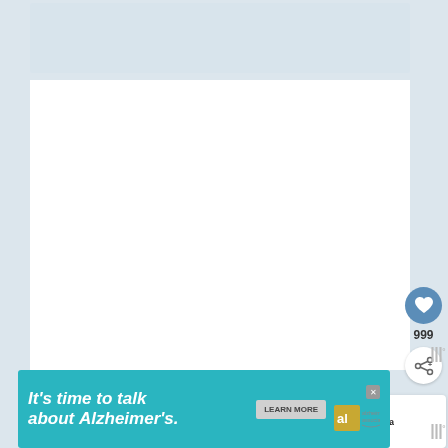[Figure (screenshot): Screenshot of a recipe/food website page. The top portion shows a light blue-gray background with a horizontal image placeholder (food photo area) near the top. Below is a large white content area. On the right side are UI elements: a blue circular heart/like button, a like count showing 999, and a white circular share button with a share icon. A 'What's Next' card shows a thumbnail of Grilled Polenta with Roasted... dish. A Meredith media logo appears in gray. At the bottom is a teal advertisement banner reading 'It's time to talk about Alzheimer's.' with a LEARN MORE button and the Alzheimer's Association logo.]
999
WHAT'S NEXT →
Grilled Polenta with Roaste...
It's time to talk about Alzheimer's.
LEARN MORE